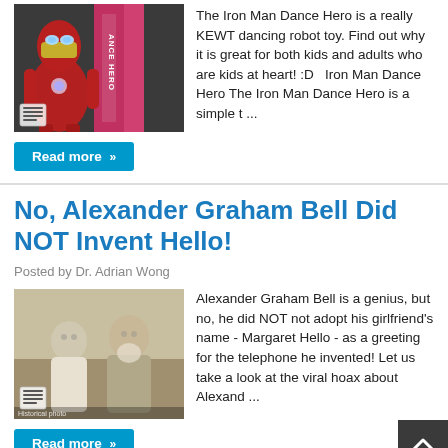[Figure (photo): Iron Man Dance Hero toy and box in background]
The Iron Man Dance Hero is a really KEWT dancing robot toy. Find out why it is great for both kids and adults who are kids at heart! :D   Iron Man Dance Hero The Iron Man Dance Hero is a simple t ...
Read more »
No, Alexander Graham Bell Did NOT Invent Hello!
Posted by Dr. Adrian Wong
[Figure (photo): Vintage black and white photo of Alexander Graham Bell with another person]
Alexander Graham Bell is a genius, but no, he did NOT not adopt his girlfriend's name - Margaret Hello - as a greeting for the telephone he invented! Let us take a look at the viral hoax about Alexand ...
Read more »